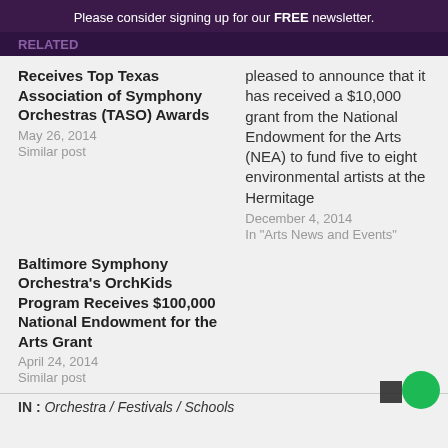Please consider signing up for our FREE newsletter.
RELATED
Receives Top Texas Association of Symphony Orchestras (TASO) Awards
May 26, 2014
Similar post
pleased to announce that it has received a $10,000 grant from the National Endowment for the Arts (NEA) to fund five to eight environmental artists at the Hermitage
December 4, 2014
In "Arts News and Events"
Baltimore Symphony Orchestra's OrchKids Program Receives $100,000 National Endowment for the Arts Grant
April 24, 2014
Similar post
IN : Orchestra / Festivals / Schools